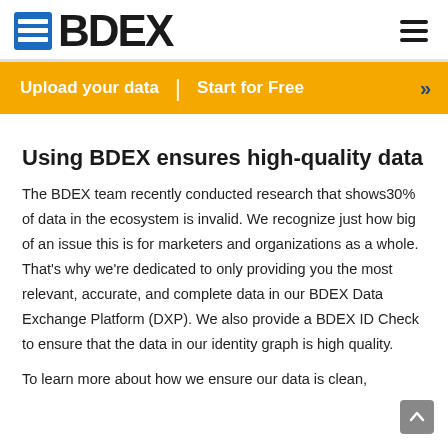BDEX
Upload your data | Start for Free >>
Using BDEX ensures high-quality data
The BDEX team recently conducted research that shows30% of data in the ecosystem is invalid. We recognize just how big of an issue this is for marketers and organizations as a whole. That's why we're dedicated to only providing you the most relevant, accurate, and complete data in our BDEX Data Exchange Platform (DXP). We also provide a BDEX ID Check to ensure that the data in our identity graph is high quality.
To learn more about how we ensure our data is clean,